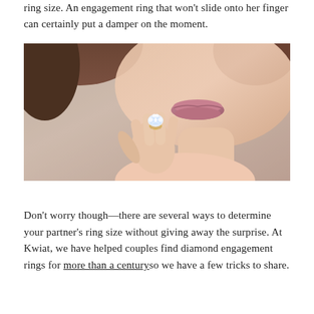ring size. An engagement ring that won't slide onto her finger can certainly put a damper on the moment.
[Figure (photo): Close-up photo of a woman's face and hand. Her hand is raised near her chin and she is wearing a diamond engagement ring on her ring finger.]
Don't worry though—there are several ways to determine your partner's ring size without giving away the surprise. At Kwiat, we have helped couples find diamond engagement rings for more than a century so we have a few tricks to share.